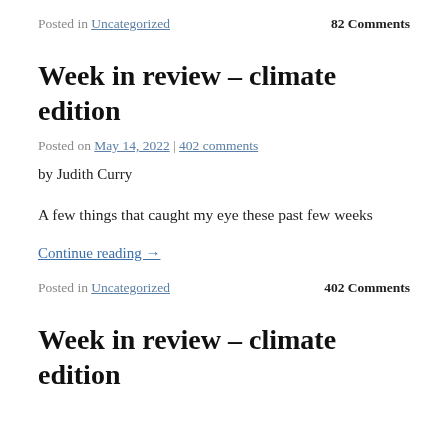Posted in Uncategorized   82 Comments
Week in review – climate edition
Posted on May 14, 2022 | 402 comments
by Judith Curry
A few things that caught my eye these past few weeks
Continue reading →
Posted in Uncategorized   402 Comments
Week in review – climate edition